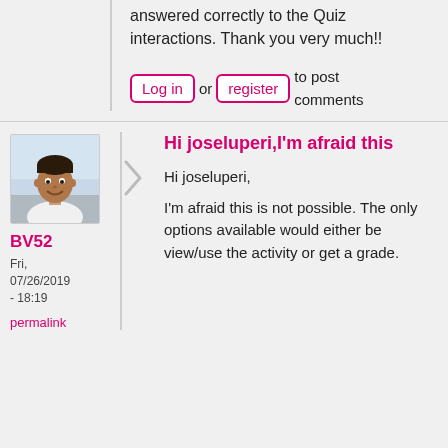answered correctly to the Quiz interactions. Thank you very much!!
Log in or register to post comments
[Figure (photo): Profile photo of user BV52, a smiling man in a white shirt]
BV52
Fri, 07/26/2019 - 18:19
permalink
Hi joseluperi,I'm afraid this
Hi joseluperi,
I'm afraid this is not possible. The only options available would either be view/use the activity or get a grade.